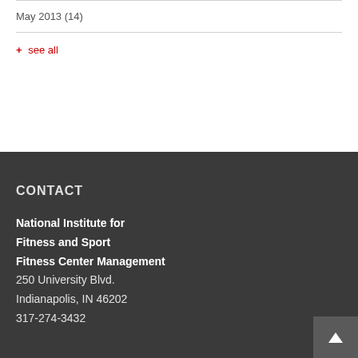May 2013 (14)
+ see all
CONTACT
National Institute for Fitness and Sport
Fitness Center Management
250 University Blvd.
Indianapolis, IN 46202
317-274-3432